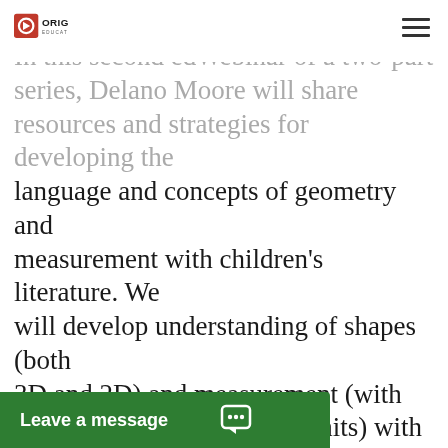ORIGO EDUCATION
In this second edWebinar of a two-part series, Delano Moore will share resources and strategies for developing the language and concepts of geometry and measurement with children's literature. We will develop understanding of shapes (both 3D and 2D) and measurement (with standard and non-standard units) with trade books and big books that use high-quality language features as well as strong mathematics. Learn strategies to help students move from everyday language to mathematical language while building understanding of key geometry and measurement concepts. Watch Sara explore strategies and resources for developing ... of geometry and ... uage and